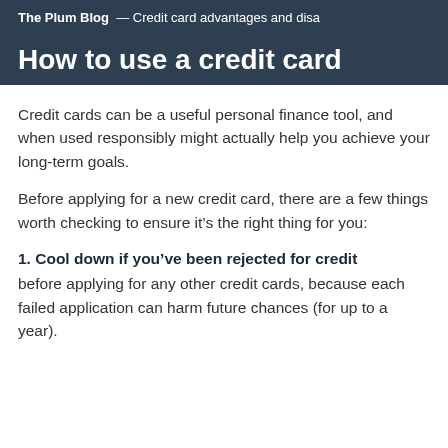The Plum Blog — Credit card advantages and disa
How to use a credit card
Credit cards can be a useful personal finance tool, and when used responsibly might actually help you achieve your long-term goals.
Before applying for a new credit card, there are a few things worth checking to ensure it’s the right thing for you:
1. Cool down if you’ve been rejected for credit before applying for any other credit cards, because each failed application can harm future chances (for up to a year).